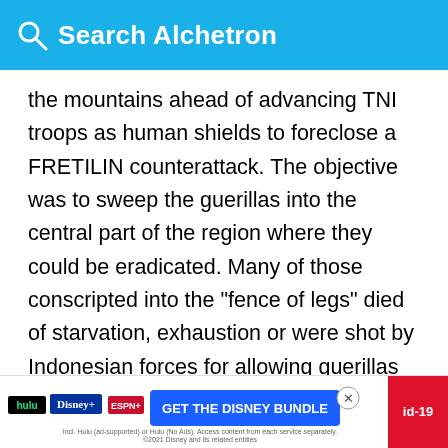Search Alchetron
the mountains ahead of advancing TNI troops as human shields to foreclose a FRETILIN counterattack. The objective was to sweep the guerillas into the central part of the region where they could be eradicated. Many of those conscripted into the "fence of legs" died of starvation, exhaustion or were shot by Indonesian forces for allowing guerillas to slip through. As the "fence" converged on villages, Indonesian forces massacred an unknown number of civilians. At least 400 villagers were massacred in Lacluta by Battalion 744 of the Indonesian Army in September 1981. Austra...ately
[Figure (other): Advertisement banner for Disney Bundle (Hulu, Disney+, ESPN+) with GET THE DISNEY BUNDLE call to action, X close button, and covid id-19 badge]